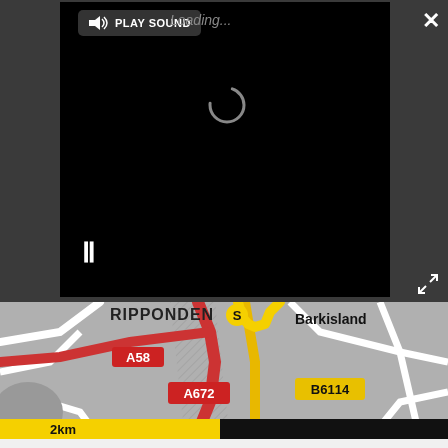[Figure (screenshot): Video player embedded in a dark toolbar UI showing a black video screen with a loading spinner, pause button (||), play sound button with speaker icon, close (X) button top right, and expand/fullscreen icon bottom right]
[Figure (map): Navigation/road map showing roads near Ripponden and Barkisland area. Roads shown: A58 (red label), A672 (red label), B6114 (yellow label), with a yellow route line marked S (start). Scale bar showing 2km at bottom left.]